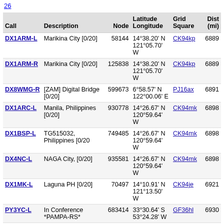26
| Call | Description | Node | Latitude
Longitude | Grid
Square | Dist
(mi) |
| --- | --- | --- | --- | --- | --- |
| DX1ARM-L | Marikina City [0/20] | 58144 | 14°38.20' N
121°05.70' W | CK94kp | 6889 |
| DX1ARM-R | Marikina City [0/20] | 125838 | 14°38.20' N
121°05.70' W | CK94kp | 6889 |
| DX8WMG-R | [ZAM] Digital Bridge [0/20] | 599673 | 6°58.57' N
122°00.06' E | PJ16ax | 6891 |
| DX1ARC-L | Manila, Philippines [0/20] | 930778 | 14°26.67' N
120°59.64' W | CK94mk | 6898 |
| DX1BSP-L | TG515032, Philippines [0/20 | 749485 | 14°26.67' N
120°59.64' W | CK94mk | 6898 |
| DX4NC-L | NAGA City, [0/20] | 935581 | 14°26.67' N
120°59.64' W | CK94mk | 6898 |
| DX1MK-L | Laguna PH [0/20] | 70497 | 14°10.91' N
121°13.50' W | CK94je | 6921 |
| PY3YC-L | In Conference *PAMPA-RS* | 683414 | 33°30.64' S
53°24.28' W | GF36hl | 6930 |
| W1JET-L | Davao Philippines [0/20] | 787366 | 7°07.10' N
125°27.48' E | PJ27rc | 7015 |
| CX1AAO-L | [Svx] Playa Hermosa,Uruguay | 163728 | 34°50.15' S
55°18.08' W | GF25id | 7066 |
| CX5A-L | UNION - Montevideo | 904046 | 34°52.00' S
56°07.00' W | GF15wd | 7094 |